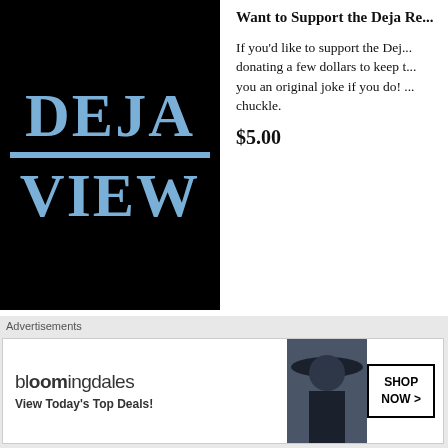[Figure (logo): Deja View logo — black background with light blue bold text reading DEJA over a horizontal line over VIEW]
Want to Support the Deja Re...
If you'd like to support the Dej... donating a few dollars to keep t... you an original joke if you do! ... chuckle.
$5.00
[Figure (screenshot): PayPal Pay with button — light grey button showing 'Pay with PayPal']
[Figure (screenshot): Payment method icons: VISA (blue), Mastercard (red/orange), American Express (blue)]
Advertisements
[Figure (screenshot): Partial advertisement banner with blue/teal gradient background]
Advertisements
[Figure (screenshot): Bloomingdales advertisement — bloomingdales logo, 'View Today's Top Deals!' text, woman in black hat, SHOP NOW > button]